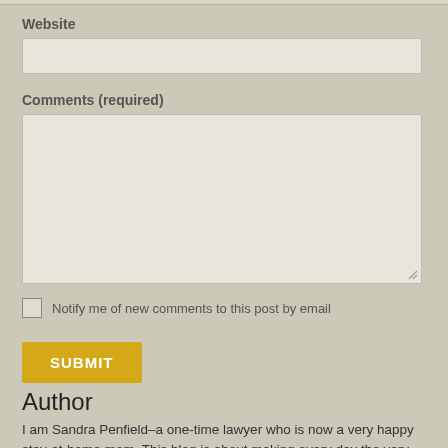Website
Comments (required)
Notify me of new comments to this post by email
SUBMIT
Author
I am Sandra Penfield–a one-time lawyer who is now a very happy stay-at-home mom. This blog is about making every day the very best it can be and preserving those memories for my children.